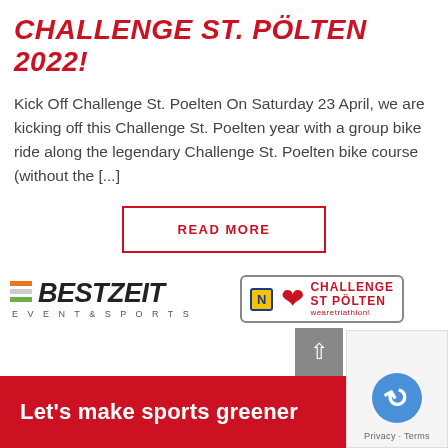CHALLENGE ST. PÖLTEN 2022!
Kick Off Challenge St. Poelten On Saturday 23 April, we are kicking off this Challenge St. Poelten year with a group bike ride along the legendary Challenge St. Poelten bike course (without the [...]
READ MORE
[Figure (logo): Bestzeit Event & Sports logo and Challenge St Pölten logo side by side]
[Figure (photo): Red banner at bottom with white text: Let's make sports greener]